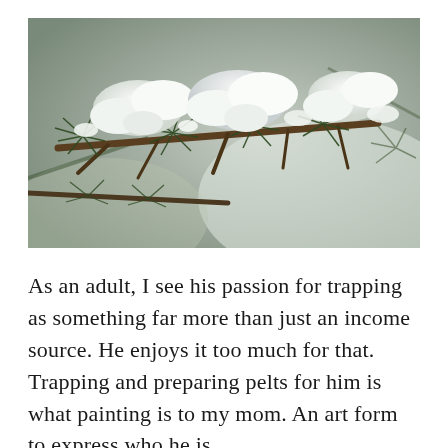[Figure (photo): Close-up photograph of snow-covered pine or fir tree branches with clumps of white snow resting on dark green needles, with a soft blurred background.]
As an adult, I see his passion for trapping as something far more than just an income source. He enjoys it too much for that. Trapping and preparing pelts for him is what painting is to my mom. An art form to express who he is.